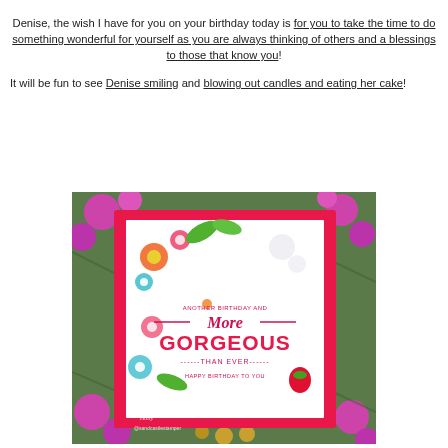Denise, the wish I have for you on your birthday today is for you to take the time to do something wonderful for yourself as you are always thinking of others and a blessings to those that know you!
It will be fun to see Denise smiling and blowing out candles and eating her cake!
[Figure (photo): A birthday card with a red/pink frame. The card features colorful floral designs and the stamped text 'More GORGEOUS THAN EVER' with decorative elements. The card is set against a background of purple/magenta Christmas ornaments and greenery. A watermark reads 'Holly @sandcastlestamper'.]